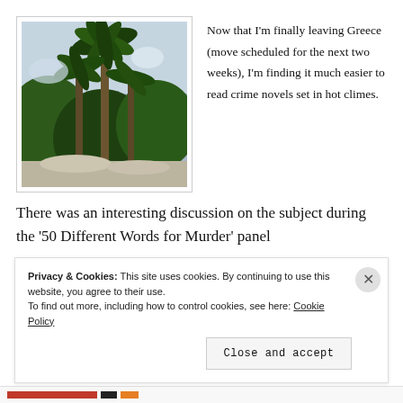[Figure (photo): Photograph of palm trees and lush green trees viewed from below against a bright sky, with dappled sunlight.]
Now that I'm finally leaving Greece (move scheduled for the next two weeks), I'm finding it much easier to read crime novels set in hot climes.
There was an interesting discussion on the subject during the '50 Different Words for Murder' panel
Privacy & Cookies: This site uses cookies. By continuing to use this website, you agree to their use.
To find out more, including how to control cookies, see here: Cookie Policy
Close and accept